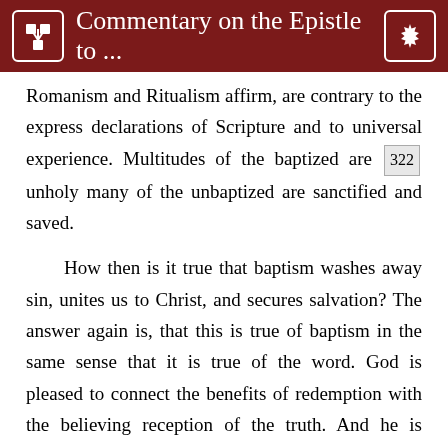Commentary on the Epistle to ...
Romanism and Ritualism affirm, are contrary to the express declarations of Scripture and to universal experience. Multitudes of the baptized are [322] unholy many of the unbaptized are sanctified and saved.
How then is it true that baptism washes away sin, unites us to Christ, and secures salvation? The answer again is, that this is true of baptism in the same sense that it is true of the word. God is pleased to connect the benefits of redemption with the believing reception of the truth. And he is pleased to connect these same benefits with the